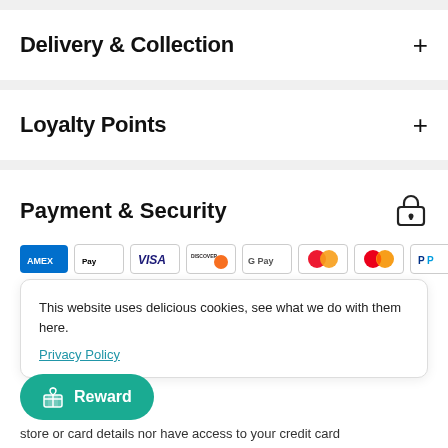Delivery & Collection
Loyalty Points
Payment & Security
[Figure (other): Row of payment method icons (Amex, Apple Pay, Visa, Discover, Google Pay, Maestro, Mastercard, PayPal, Shop Pay)]
This website uses delicious cookies, see what we do with them here. Privacy Policy
store or card details nor have access to your credit card information.